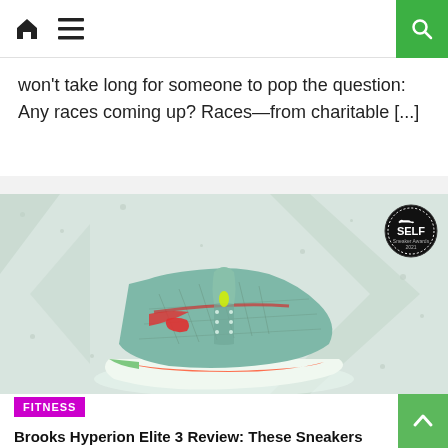Navigation bar with home icon, hamburger menu, and search button
won't take long for someone to pop the question: Any races coming up? Races—from charitable [...]
[Figure (photo): Green/mint Brooks Hyperion Elite 3 running shoe on a speckled light green background with a SELF Sneaker Awards 2021 badge in the top right corner and large arrow chevrons on each side]
FITNESS
Brooks Hyperion Elite 3 Review: These Sneakers